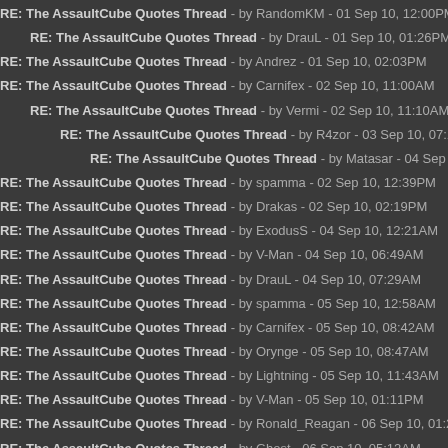RE: The AssaultCube Quotes Thread - by RandomKM - 01 Sep 10, 12:00PM
RE: The AssaultCube Quotes Thread - by DrauL - 01 Sep 10, 01:26PM
RE: The AssaultCube Quotes Thread - by Andrez - 01 Sep 10, 02:03PM
RE: The AssaultCube Quotes Thread - by Carnifex - 02 Sep 10, 11:00AM
RE: The AssaultCube Quotes Thread - by Vermi - 02 Sep 10, 11:10AM
RE: The AssaultCube Quotes Thread - by R4zor - 03 Sep 10, 07:14AM
RE: The AssaultCube Quotes Thread - by Matasar - 04 Sep 10, 09:56PM
RE: The AssaultCube Quotes Thread - by spamma - 02 Sep 10, 12:39PM
RE: The AssaultCube Quotes Thread - by Drakas - 02 Sep 10, 02:19PM
RE: The AssaultCube Quotes Thread - by ExodusS - 04 Sep 10, 12:21AM
RE: The AssaultCube Quotes Thread - by V-Man - 04 Sep 10, 06:49AM
RE: The AssaultCube Quotes Thread - by DrauL - 04 Sep 10, 07:29AM
RE: The AssaultCube Quotes Thread - by spamma - 05 Sep 10, 12:58AM
RE: The AssaultCube Quotes Thread - by Carnifex - 05 Sep 10, 08:42AM
RE: The AssaultCube Quotes Thread - by Orynge - 05 Sep 10, 08:47AM
RE: The AssaultCube Quotes Thread - by Lightning - 05 Sep 10, 11:43AM
RE: The AssaultCube Quotes Thread - by V-Man - 05 Sep 10, 01:11PM
RE: The AssaultCube Quotes Thread - by Ronald_Reagan - 06 Sep 10, 01:28AM
RE: The AssaultCube Quotes Thread - by Ghost - 06 Sep 10, 05:12AM
RE: The AssaultCube Quotes Thread - by adam - 06 Sep 10, 08:10AM
RE: The AssaultCube Quotes Thread - by MusicMan10 - 06 Sep 10, 05:41PM
RE: The AssaultCube Quotes Thread - by adam - 06 Sep 10, 08:47PM
RE: The AssaultCube Quotes Thread - by Habluka - 06 Sep 10, 09:01PM
RE: The AssaultCube Quotes Thread - by V-Man - 06 Sep 10, 10:59PM
RE: The AssaultCube Quotes Thread - by Ronald_Reagan - 06 Sep 10, 11:49PM